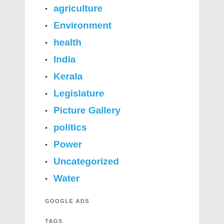agriculture
Environment
health
India
Kerala
Legislature
Picture Gallery
politics
Power
Uncategorized
Water
GOOGLE ADS
TAGS
Achuthanandan agriculture Assembly biodiversity BJP by-election Chennithala climate change Congress convention COVID